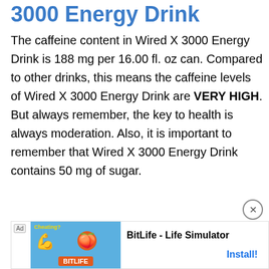3000 Energy Drink
The caffeine content in Wired X 3000 Energy Drink is 188 mg per 16.00 fl. oz can. Compared to other drinks, this means the caffeine levels of Wired X 3000 Energy Drink are VERY HIGH. But always remember, the key to health is always moderation. Also, it is important to remember that Wired X 3000 Energy Drink contains 50 mg of sugar.
[Figure (other): Advertisement banner for BitLife - Life Simulator app with close button]